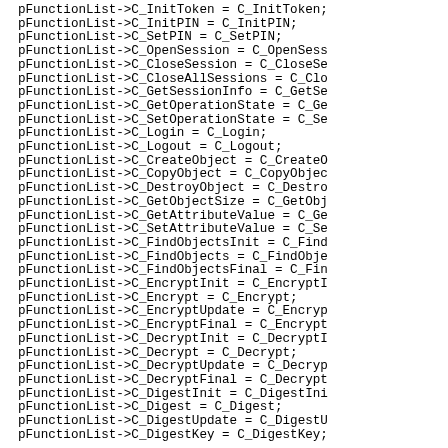pFunctionList->C_InitToken = C_InitToken;
pFunctionList->C_InitPIN = C_InitPIN;
pFunctionList->C_SetPIN = C_SetPIN;
pFunctionList->C_OpenSession = C_OpenSess
pFunctionList->C_CloseSession = C_CloseSe
pFunctionList->C_CloseAllSessions = C_Clo
pFunctionList->C_GetSessionInfo = C_GetSe
pFunctionList->C_GetOperationState = C_Ge
pFunctionList->C_SetOperationState = C_Se
pFunctionList->C_Login = C_Login;
pFunctionList->C_Logout = C_Logout;
pFunctionList->C_CreateObject = C_CreateO
pFunctionList->C_CopyObject = C_CopyObjec
pFunctionList->C_DestroyObject = C_Destro
pFunctionList->C_GetObjectSize = C_GetObj
pFunctionList->C_GetAttributeValue = C_Ge
pFunctionList->C_SetAttributeValue = C_Se
pFunctionList->C_FindObjectsInit = C_Find
pFunctionList->C_FindObjects = C_FindObje
pFunctionList->C_FindObjectsFinal = C_Fin
pFunctionList->C_EncryptInit = C_EncryptI
pFunctionList->C_Encrypt = C_Encrypt;
pFunctionList->C_EncryptUpdate = C_Encryp
pFunctionList->C_EncryptFinal = C_Encrypt
pFunctionList->C_DecryptInit = C_DecryptI
pFunctionList->C_Decrypt = C_Decrypt;
pFunctionList->C_DecryptUpdate = C_Decryp
pFunctionList->C_DecryptFinal = C_Decrypt
pFunctionList->C_DigestInit = C_DigestIni
pFunctionList->C_Digest = C_Digest;
pFunctionList->C_DigestUpdate = C_DigestU
pFunctionList->C_DigestKey = C_DigestKey;